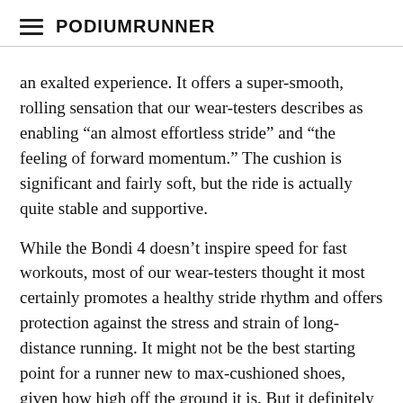PodiumRunner
an exalted experience. It offers a super-smooth, rolling sensation that our wear-testers describes as enabling “an almost effortless stride” and “the feeling of forward momentum.” The cushion is significant and fairly soft, but the ride is actually quite stable and supportive.
While the Bondi 4 doesn’t inspire speed for fast workouts, most of our wear-testers thought it most certainly promotes a healthy stride rhythm and offers protection against the stress and strain of long-distance running. It might not be the best starting point for a runner new to max-cushioned shoes, given how high off the ground it is. But it definitely has a short learning curve. (Wear-testers said it took maybe 2-3 runs to get the hang of it.) We liked this shoe for a variety of moderate to long runs and slower to moderate paces, although it should be noted that several wear-testers took to this shoe as a post-race